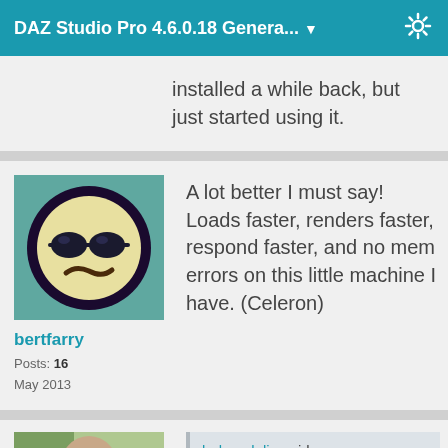DAZ Studio Pro 4.6.0.18 Genera... ▼
installed a while back, but just started using it.
[Figure (illustration): User avatar: emoji-style face with sunglasses on teal background]
bertfarry
Posts: 16
May 2013
A lot better I must say! Loads faster, renders faster, respond faster, and no mem errors on this little machine I have. (Celeron)
[Figure (photo): Photo of a bald man with sunglasses outdoors]
belovedalia said:
... the weird ugly skin effect I'm getting when I use the